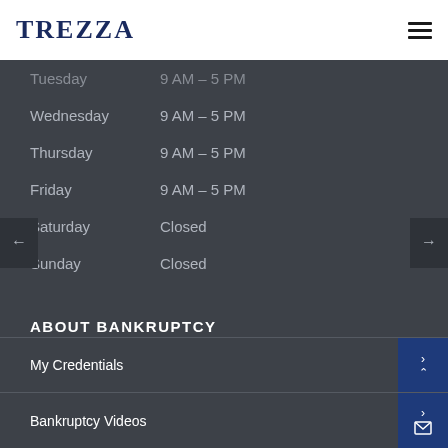TREZZA
| Day | Hours |
| --- | --- |
| Tuesday | 9 AM – 5 PM |
| Wednesday | 9 AM – 5 PM |
| Thursday | 9 AM – 5 PM |
| Friday | 9 AM – 5 PM |
| Saturday | Closed |
| Sunday | Closed |
ABOUT BANKRUPTCY
My Credentials
Bankruptcy Videos